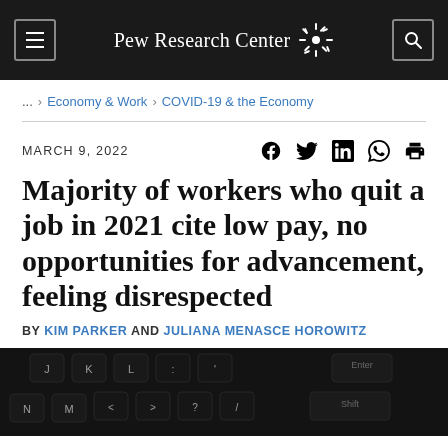Pew Research Center
... > Economy & Work > COVID-19 & the Economy
MARCH 9, 2022
Majority of workers who quit a job in 2021 cite low pay, no opportunities for advancement, feeling disrespected
BY KIM PARKER AND JULIANA MENASCE HOROWITZ
[Figure (photo): Close-up photograph of a dark computer keyboard with keys visible including J, K, L, N, M, Enter, Shift keys]